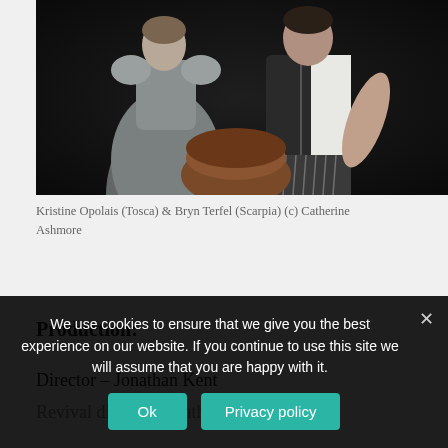[Figure (photo): Two opera performers on stage — a woman in a grey Regency-style dress on the left and a man in a black vest and white shirt on the right, with a dark background.]
Kristine Opolais (Tosca) & Bryn Terfel (Scarpia) (c) Catherine Ashmore
Production:
Director – Jonathan Kent
Revival director – Anthony Sheldon
We use cookies to ensure that we give you the best experience on our website. If you continue to use this site we will assume that you are happy with it.